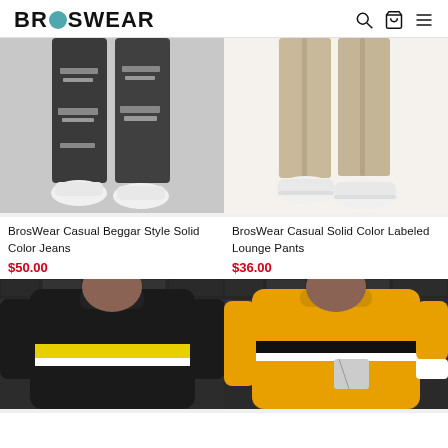BROSWEAR
[Figure (photo): Lower body shot of man wearing dark grey ripped/distressed skinny jeans with white sneakers on grey background]
[Figure (photo): Lower body shot of man wearing beige/khaki slim lounge pants with white sneakers on white background]
BrosWear Casual Beggar Style Solid Color Jeans
$50.00
BrosWear Casual Solid Color Labeled Lounge Pants
$36.00
[Figure (photo): Man wearing black sweatshirt with yellow and white horizontal stripe across chest, in front of dark brick wall]
[Figure (photo): Man wearing yellow sweatshirt with black and white horizontal stripe across chest with pocket detail, in front of dark brick wall]